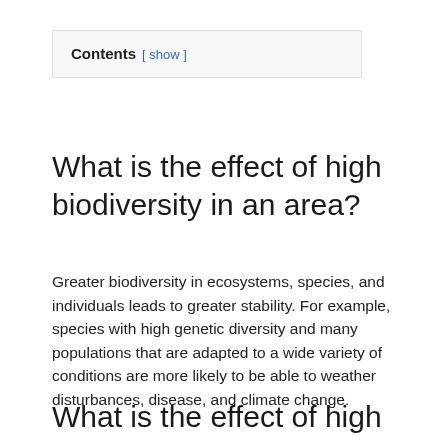Contents [ show ]
What is the effect of high biodiversity in an area?
Greater biodiversity in ecosystems, species, and individuals leads to greater stability. For example, species with high genetic diversity and many populations that are adapted to a wide variety of conditions are more likely to be able to weather disturbances, disease, and climate change.
What is the effect of high biodiversity in an area?